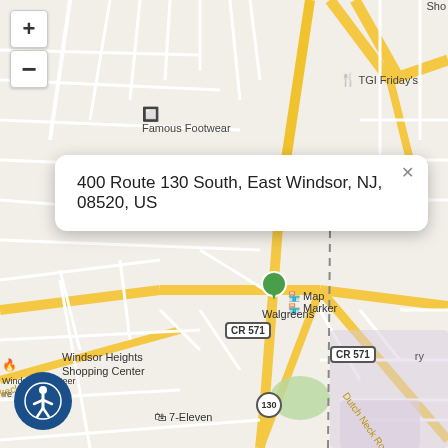[Figure (map): Street map showing the area around 400 Route 130 South, East Windsor, NJ, 08520, US. Map shows streets, landmarks including Famous Footwear, TGI Friday's, Walgreens, Windsor Heights Shopping Center, Windsor Volunteer Fire Company, 7-Eleven, roads CR 571, Route 130, Dutch Neck Road, with a map marker and info popup. Zoom controls (+/-) visible in top-left. Accessibility button in bottom-left.]